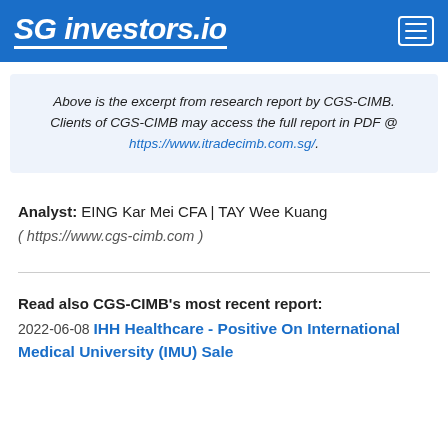SG investors.io
Above is the excerpt from research report by CGS-CIMB. Clients of CGS-CIMB may access the full report in PDF @ https://www.itradecimb.com.sg/.
Analyst: EING Kar Mei CFA | TAY Wee Kuang ( https://www.cgs-cimb.com )
Read also CGS-CIMB's most recent report: 2022-06-08 IHH Healthcare - Positive On International Medical University (IMU) Sale